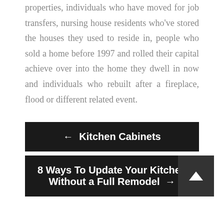properties, individuals who have moved for job transfers, nursing house residents who've stored the houses they used to reside in, people who sold a home before 1997 and rolled their capital achieve over into the home they dwell in now and individuals who rebuilt after a fireplace, flood or different related event.
← Kitchen Cabinets
8 Ways To Update Your Kitchen Without a Full Remodel →